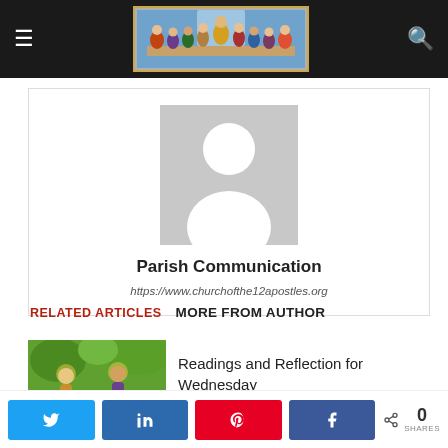Navigation bar with hamburger menu, Last Supper artwork logo, and search icon
[Figure (photo): Default avatar placeholder image — grey square with white silhouette of a person (head and shoulders)]
Parish Communication
https://www.churchofthe12apostles.org
RELATED ARTICLES   MORE FROM AUTHOR
[Figure (photo): Small thumbnail image of a religious scene with figures and green background]
Readings and Reflection for Wednesday
Share buttons: Twitter, LinkedIn, Pinterest, Facebook — 0 SHARES